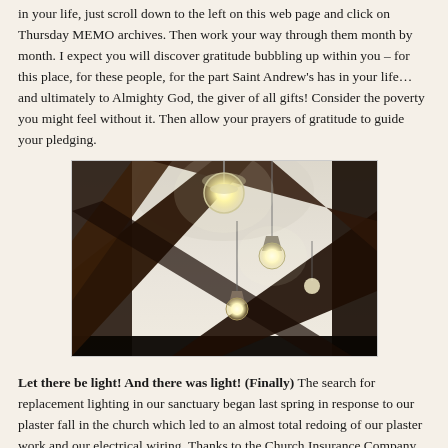in your life, just scroll down to the left on this web page and click on Thursday MEMO archives. Then work your way through them month by month. I expect you will discover gratitude bubbling up within you – for this place, for these people, for the part Saint Andrew's has in your life… and ultimately to Almighty God, the giver of all gifts! Consider the poverty you might feel without it. Then allow your prayers of gratitude to guide your pledging.
[Figure (photo): Interior photo of a church sanctuary ceiling showing dark wooden beams in an arched pattern with light fixtures hanging from the ceiling including a globe light and pendant lights]
Let there be light! And there was light! (Finally) The search for replacement lighting in our sanctuary began last spring in response to our plaster fall in the church which led to an almost total redoing of our plaster work and our electrical wiring. Thanks to the Church Insurance Company, most of the repair work, and all the electrical work, including the lights themselves and the long-life bulbs, has been covered by our insurance policy. The committee searched